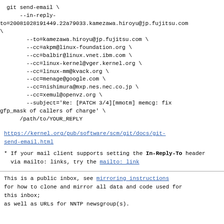git send-email \
    --in-reply-to=20081028191449.22a79033.kamezawa.hiroyu@jp.fujitsu.com \
    --to=kamezawa.hiroyu@jp.fujitsu.com \
    --cc=akpm@linux-foundation.org \
    --cc=balbir@linux.vnet.ibm.com \
    --cc=linux-kernel@vger.kernel.org \
    --cc=linux-mm@kvack.org \
    --cc=menage@google.com \
    --cc=nishimura@mxp.nes.nec.co.jp \
    --cc=xemul@openvz.org \
    --subject='Re: [PATCH 3/4][mmotm] memcg: fix gfp_mask of callers of charge' \
    /path/to/YOUR_REPLY
https://kernel.org/pub/software/scm/git/docs/git-send-email.html
* If your mail client supports setting the In-Reply-To header
  via mailto: links, try the mailto: link
This is a public inbox, see mirroring instructions
for how to clone and mirror all data and code used for this inbox;
as well as URLs for NNTP newsgroup(s).